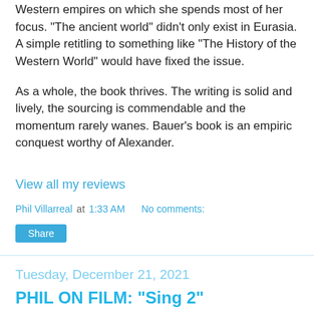Western empires on which she spends most of her focus. "The ancient world" didn't only exist in Eurasia. A simple retitling to something like "The History of the Western World" would have fixed the issue.
As a whole, the book thrives. The writing is solid and lively, the sourcing is commendable and the momentum rarely wanes. Bauer's book is an empiric conquest worthy of Alexander.
View all my reviews
Phil Villarreal at 1:33 AM    No comments:
Share
Tuesday, December 21, 2021
PHIL ON FILM: "Sing 2"